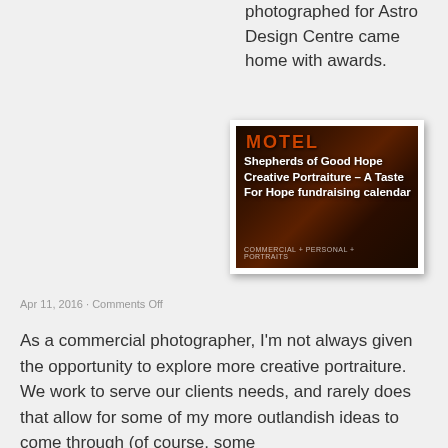photographed for Astro Design Centre came home with awards.
[Figure (photo): Dark photo of a person in front of a motel sign, with overlaid text reading 'Shepherds of Good Hope Creative Portraiture – A Taste For Hope fundraising calendar' and tags 'COMMERCIAL + PERSONAL + PORTRAITS']
Apr 11, 2016 · Comments Off
As a commercial photographer, I'm not always given the opportunity to explore more creative portraiture. We work to serve our clients needs, and rarely does that allow for some of my more outlandish ideas to come through (of course, some